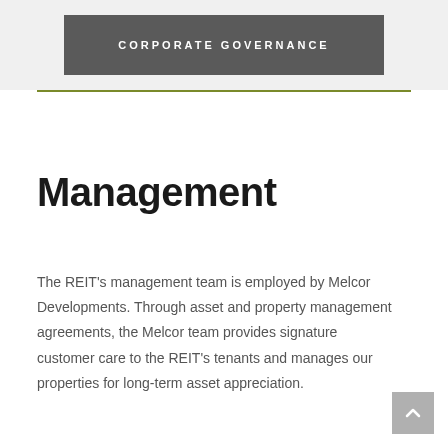CORPORATE GOVERNANCE
Management
The REIT's management team is employed by Melcor Developments. Through asset and property management agreements, the Melcor team provides signature customer care to the REIT's tenants and manages our properties for long-term asset appreciation.